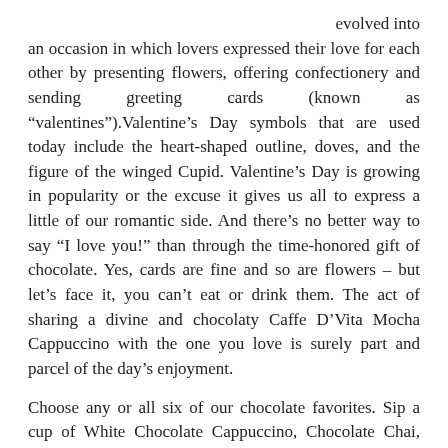evolved into an occasion in which lovers expressed their love for each other by presenting flowers, offering confectionery and sending greeting cards (known as “valentines”).Valentine’s Day symbols that are used today include the heart-shaped outline, doves, and the figure of the winged Cupid. Valentine’s Day is growing in popularity or the excuse it gives us all to express a little of our romantic side. And there’s no better way to say “I love you!” than through the time-honored gift of chocolate. Yes, cards are fine and so are flowers – but let’s face it, you can’t eat or drink them. The act of sharing a divine and chocolaty Caffe D’Vita Mocha Cappuccino with the one you love is surely part and parcel of the day’s enjoyment.
Choose any or all six of our chocolate favorites. Sip a cup of White Chocolate Cappuccino, Chocolate Chai, Hot Cocoa, Sugar Free Hot Cocoa, Cocoa Freeze Smoothie, or White Chocolate Raspberry Cappuccino, each one excites the imagination.
So let’s think chocolate this Valentine’s Day and you never know where it all might lead! Certainly, the golden age of romance is alive and well in the range of Valentine’s Day